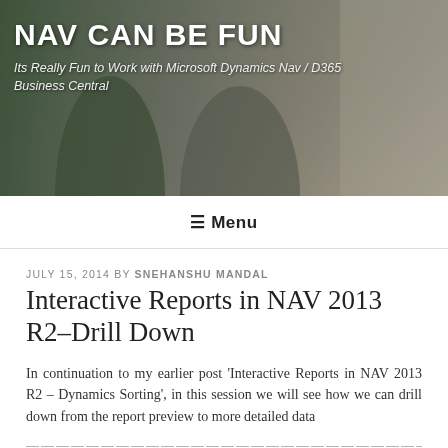[Figure (photo): Banner photo showing two people in an office/workspace setting with colorful artwork in background. Overlay text reads NAV CAN BE FUN with subtitle.]
NAV CAN BE FUN
Its Really Fun to Work with Microsoft Dynamics Nav / D365 Business Central
≡ Menu
JULY 15, 2014 BY SNEHANSHU MANDAL
Interactive Reports in NAV 2013 R2–Drill Down
In continuation to my earlier post 'Interactive Reports in NAV 2013 R2 – Dynamics Sorting', in this session we will see how we can drill down from the report preview to more detailed data
————————————————————————————————